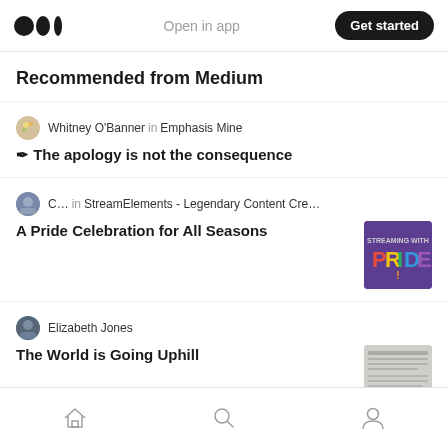Medium logo | Open in app | Get started
Recommended from Medium
Whitney O'Banner in Emphasis Mine — ✒ The apology is not the consequence
C... in StreamElements - Legendary Content Cre... — A Pride Celebration for All Seasons
Elizabeth Jones — The World is Going Uphill
JJ Hart
Home | Search | Profile